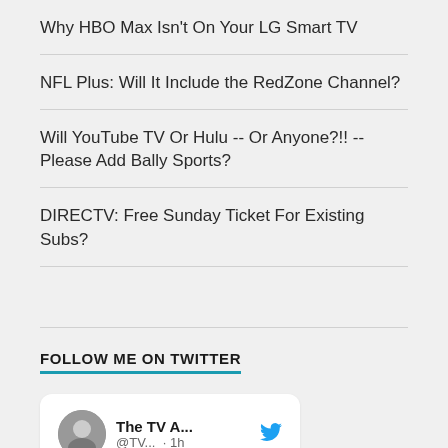Why HBO Max Isn't On Your LG Smart TV
NFL Plus: Will It Include the RedZone Channel?
Will YouTube TV Or Hulu -- Or Anyone?!! -- Please Add Bally Sports?
DIRECTV: Free Sunday Ticket For Existing Subs?
FOLLOW ME ON TWITTER
[Figure (screenshot): Twitter card showing The TV A... account @TV... posting 1h ago: 'In case you were wondering: Pause, rewind and replay']